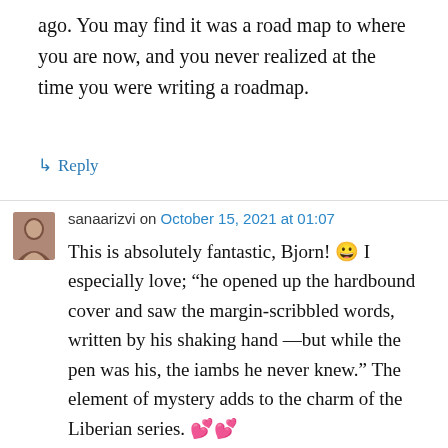ago. You may find it was a road map to where you are now, and you never realized at the time you were writing a roadmap.
↳ Reply
sanaarizvi on October 15, 2021 at 01:07
This is absolutely fantastic, Bjorn! 😀 I especially love; “he opened up the hardbound cover and saw the margin-scribbled words, written by his shaking hand —but while the pen was his, the iambs he never knew.” The element of mystery adds to the charm of the Liberian series. 💝💝